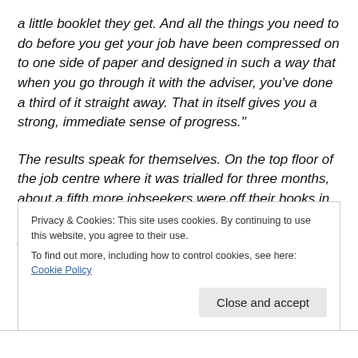a little booklet they get. And all the things you need to do before you get your job have been compressed on to one side of paper and designed in such a way that when you go through it with the adviser, you've done a third of it straight away. That in itself gives you a strong, immediate sense of progress."
The results speak for themselves. On the top floor of the job centre where it was trialled for three months, about a fifth more jobseekers were off their books in 13 weeks compared with the floor below where processes remained
Privacy & Cookies: This site uses cookies. By continuing to use this website, you agree to their use.
To find out more, including how to control cookies, see here: Cookie Policy
Close and accept